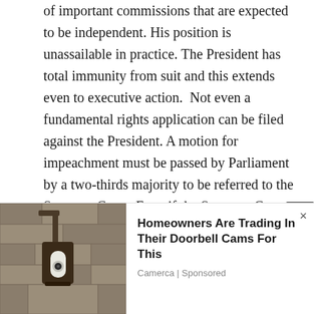of important commissions that are expected to be independent. His position is unassailable in practice. The President has total immunity from suit and this extends even to executive action.  Not even a fundamental rights application can be filed against the President. A motion for impeachment must be passed by Parliament by a two-thirds majority to be referred to the Supreme Court. Even if the Supreme Court holds that the President is guilty of any of the allegations contained in such motion, Parliament must again pass a resolution for his removal by a two-thirds majority.[7]
[Figure (photo): Advertisement banner showing a security camera mounted on a stone wall, promoting a doorbell camera product replacement. Text reads: Homeowners Are Trading In Their Doorbell Cams For This. Camerca | Sponsored]